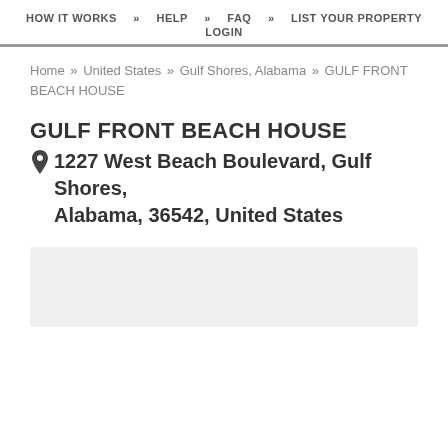HOW IT WORKS   HELP   FAQ   LIST YOUR PROPERTY   LOGIN
Home » United States » Gulf Shores, Alabama » GULF FRONT BEACH HOUSE
GULF FRONT BEACH HOUSE
1227 West Beach Boulevard, Gulf Shores, Alabama, 36542, United States